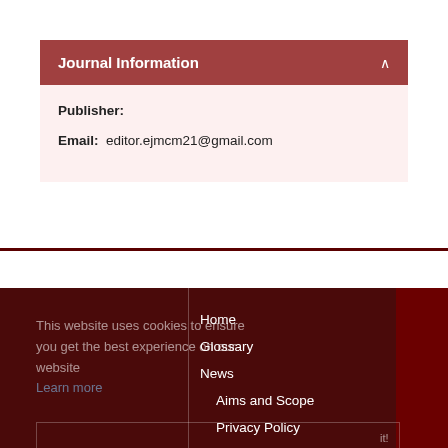Journal Information
Publisher:
Email: editor.ejmcm21@gmail.com
This website uses cookies to ensure you get the best experience on our website
Home
Glossary
News
Aims and Scope
Privacy Policy
Sitemap